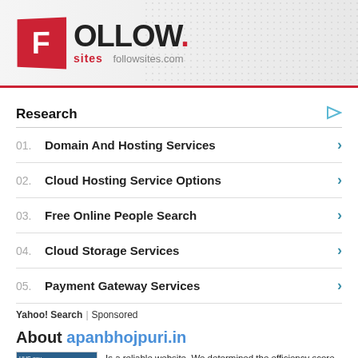[Figure (logo): Followsites.com logo with red F icon and FOLLOW. text with world map dot background]
Research
01. Domain And Hosting Services
02. Cloud Hosting Service Options
03. Free Online People Search
04. Cloud Storage Services
05. Payment Gateway Services
Yahoo! Search | Sponsored
About apanbhojpuri.in
Is a reliable website. We determined the efficiency score of the site as %63. Site Title Apanbhojpuri.In™ ! N.1 Bhojpuri